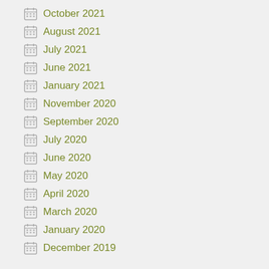October 2021
August 2021
July 2021
June 2021
January 2021
November 2020
September 2020
July 2020
June 2020
May 2020
April 2020
March 2020
January 2020
December 2019